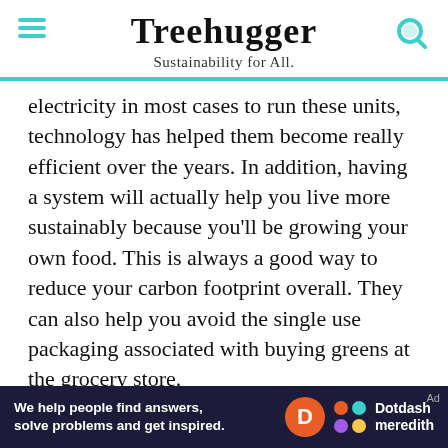Treehugger — Sustainability for All.
electricity in most cases to run these units, technology has helped them become really efficient over the years. In addition, having a system will actually help you live more sustainably because you'll be growing your own food. This is always a good way to reduce your carbon footprint overall. They can also help you avoid the single use packaging associated with buying greens at the grocery store.
As you look for units, definitely read how they are made and try to seek out efficient options. Some are better than others, and manufacturers will
[Figure (screenshot): Dotdash Meredith advertisement banner: 'We help people find answers, solve problems and get inspired.']